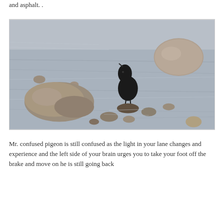and asphalt. .
[Figure (photo): A black bird (blackbird or grackle) standing on a rock at the water's edge, surrounded by rocks and shallow water. A large rock is visible in the upper right background.]
Mr. confused pigeon is still confused as the light in your lane changes and experience and the left side of your brain urges you to take your foot off the brake and move on he is still going back